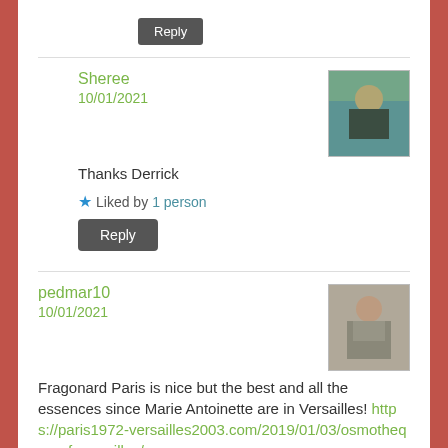Reply (button)
Sheree
10/01/2021
Thanks Derrick
★ Liked by 1 person
Reply (button)
pedmar10
10/01/2021
Fragonard Paris is nice but the best and all the essences since Marie Antoinette are in Versailles! https://paris1972-versailles2003.com/2019/01/03/osmotheque-of-versailles/